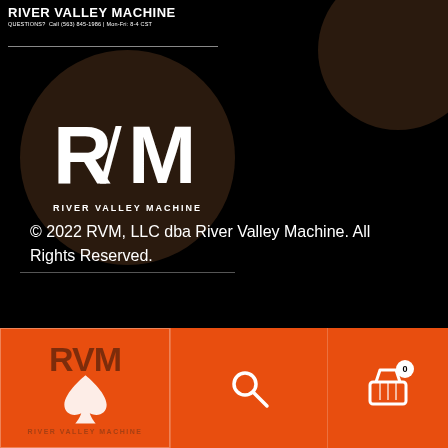RIVER VALLEY MACHINE
QUESTIONS? Call (563) 845-1986 | Mon-Fri: 8-4 CST
[Figure (logo): River Valley Machine RVM logo in white on dark brown circle, with text RIVER VALLEY MACHINE below]
© 2022 RVM, LLC dba River Valley Machine. All Rights Reserved.
[Figure (logo): Bottom orange navigation bar with RVM logo, spade icon, search icon, and shopping cart icon with badge showing 0]